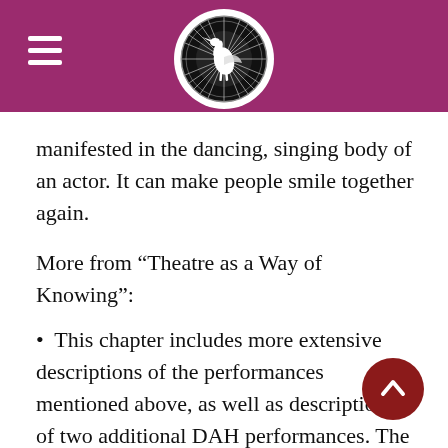[Figure (logo): Circular logo with bird/heron silhouette on dark background, surrounded by decorative border, set in purple header bar with hamburger menu icon on the left]
manifested in the dancing, singing body of an actor. It can make people smile together again.
More from “Theatre as a Way of Knowing”:
• This chapter includes more extensive descriptions of the performances mentioned above, as well as descriptions of two additional DAH performances. The first, Maps of Forbidden Remembrance, addressed the taboo topic of Serbia’s role in the 1995 massacre of approximately 8,00…